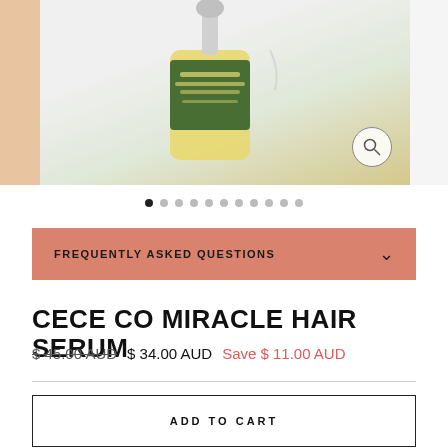[Figure (photo): Product photo of a hair serum bottle with green and gold label reading STRENGTHEN + REPAIR + GROW, with dropper and light background. Small thumbnail image on left edge.]
● ○ ○ ○ ○ ○ ○ ○ ○ ○ ○ (dot pagination indicators)
FREQUENTLY ASKED QUESTIONS
CECE CO MIRACLE HAIR SERUM
$ 45.00 AUD  $ 34.00 AUD  Save $ 11.00 AUD
ADD TO CART